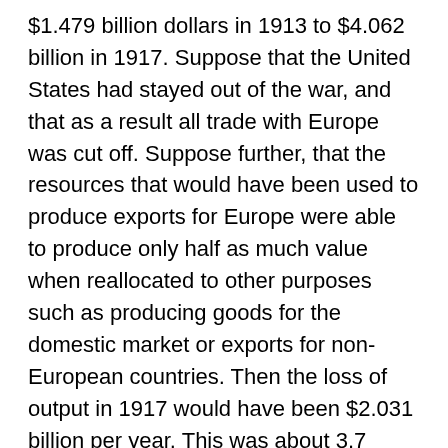$1.479 billion dollars in 1913 to $4.062 billion in 1917. Suppose that the United States had stayed out of the war, and that as a result all trade with Europe was cut off. Suppose further, that the resources that would have been used to produce exports for Europe were able to produce only half as much value when reallocated to other purposes such as producing goods for the domestic market or exports for non-European countries. Then the loss of output in 1917 would have been $2.031 billion per year. This was about 3.7 percent of GNP in 1917, and only about 6.3 percent of the total U.S. cost of the war. <2>
On March 21, 1918 the Germans launched a massive offensive on the Somme battlefield and successfully broke through the Allied lines. In May and early June, after U.S. entry into the war, the Germans followed up with fresh attacks that brought